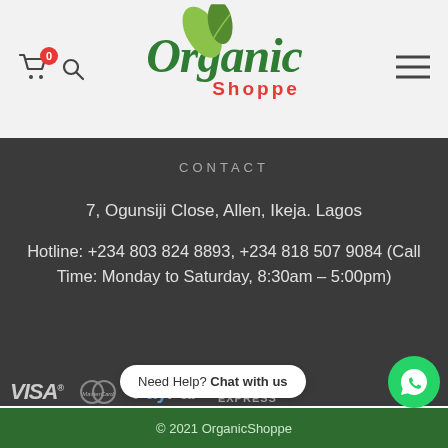[Figure (logo): Organic Shoppe logo with green leaf icon and italic green 'Organic' text with red 'Shoppe' subtitle]
CONTACT
7, Ogunsiji Close, Allen, Ikeja. Lagos
Hotline: +234 803 824 8893, +234 818 507 9084 (Call Time: Monday to Saturday, 8:30am – 5:00pm)
[Figure (logo): Payment method logos: VISA, MasterCard, PayPal, American Express in gray/white on dark background]
Need Help? Chat with us
© 2021 OrganicShoppe